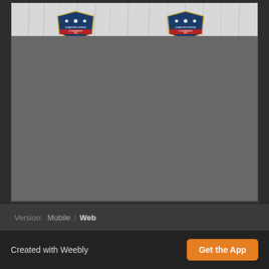[Figure (photo): A screenshot of a webpage showing a partially loaded image with white curtain backdrop and two blue shield/badge logos visible at the top. The lower portion of the image area is solid grey, indicating an incompletely loaded or placeholder image. The page appears to be a Weebly-hosted website.]
Version:  Mobile  |  Web
Created with Weebly
Get the App